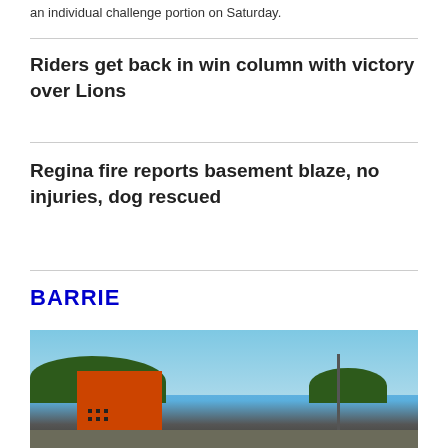an individual challenge portion on Saturday.
Riders get back in win column with victory over Lions
Regina fire reports basement blaze, no injuries, dog rescued
BARRIE
[Figure (photo): Outdoor scene showing an orange structure or sign with arrow, trees in background, a utility pole, and blue sky.]